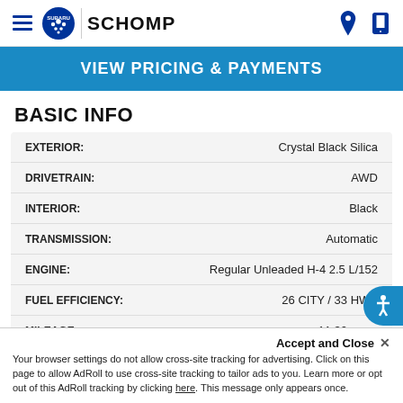Schomp Subaru
VIEW PRICING & PAYMENTS
BASIC INFO
| Field | Value |
| --- | --- |
| EXTERIOR: | Crystal Black Silica |
| DRIVETRAIN: | AWD |
| INTERIOR: | Black |
| TRANSMISSION: | Automatic |
| ENGINE: | Regular Unleaded H-4 2.5 L/152 |
| FUEL EFFICIENCY: | 26 CITY / 33 HWY |
| MILEAGE: | 11,30... |
Accept and Close ×
Your browser settings do not allow cross-site tracking for advertising. Click on this page to allow AdRoll to use cross-site tracking to tailor ads to you. Learn more or opt out of this AdRoll tracking by clicking here. This message only appears once.